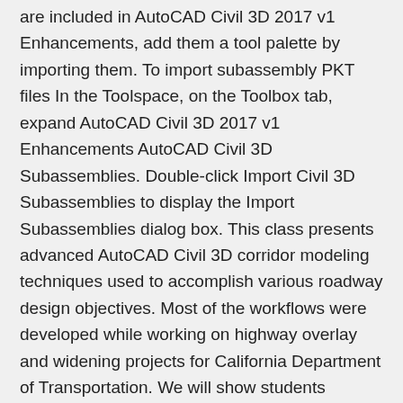are included in AutoCAD Civil 3D 2017 v1 Enhancements, add them a tool palette by importing them. To import subassembly PKT files In the Toolspace, on the Toolbox tab, expand AutoCAD Civil 3D 2017 v1 Enhancements AutoCAD Civil 3D Subassemblies. Double-click Import Civil 3D Subassemblies to display the Import Subassemblies dialog box. This class presents advanced AutoCAD Civil 3D corridor modeling techniques used to accomplish various roadway design objectives. Most of the workflows were developed while working on highway overlay and widening projects for California Department of Transportation. We will show students modeling solutions that were created using corridor targeting, conditional subassemblies, and subassembly A set of new subassemblies is included in this release, including subassemblies for benches, curbs, ditches, shoulders, tunnels, and single-track and double-track railways. This class will provide an in-depth look into using Autodesk's Subassembly Composer. Learn how to create, use